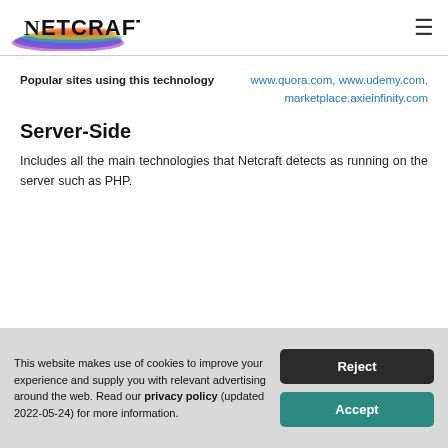Netcraft
Popular sites using this technology: www.quora.com, www.udemy.com, marketplace.axieinfinity.com
Server-Side
Includes all the main technologies that Netcraft detects as running on the server such as PHP.
This website makes use of cookies to improve your experience and supply you with relevant advertising around the web. Read our privacy policy (updated 2022-05-24) for more information.